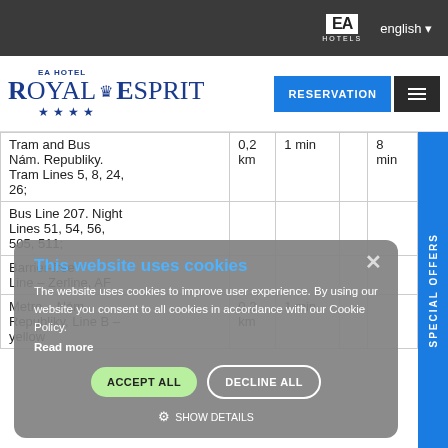EA Hotels | english
[Figure (logo): EA Hotel Royal Esprit logo with crown and 4 stars]
|  |  |  |  |  |
| --- | --- | --- | --- | --- |
| Tram and Bus Nám. Republiky. Tram Lines 5, 8, 24, 26; | 0,2 km | 1 min |  | 8 min |
| Bus Line 207. Night Lines 51, 54, 56, 505, 511; |  |  |  |  |
| Barrier-free Line – Zerline, AF |  |  |  |  |
| Metro – Nám. Republiky, Line B – yellow | 0,2 km | 1 min | - |  |
[Figure (screenshot): Cookie consent overlay: 'This website uses cookies. The website uses cookies to improve user experience. By using our website you consent to all cookies in accordance with our Cookie Policy. Read more. [ACCEPT ALL] [DECLINE ALL] [SHOW DETAILS]']